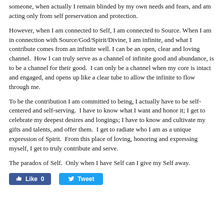someone, when actually I remain blinded by my own needs and fears, and am acting only from self preservation and protection.
However, when I am connected to Self, I am connected to Source. When I am in connection with Source/God/Spirit/Divine, I am infinite, and what I contribute comes from an infinite well. I can be an open, clear and loving channel.  How I can truly serve as a channel of infinite good and abundance, is to be a channel for their good.  I can only be a channel when my core is intact and engaged, and opens up like a clear tube to allow the infinite to flow through me.
To be the contribution I am committed to being, I actually have to be self-centered and self-serving.  I have to know what I want and honor it; I get to celebrate my deepest desires and longings; I have to know and cultivate my gifts and talents, and offer them.  I get to radiate who I am as a unique expression of Spirit.  From this place of loving, honoring and expressing myself, I get to truly contribute and serve.
The paradox of Self.  Only when I have Self can I give my Self away.
[Figure (other): Social media buttons: Facebook Like (count 0) and Twitter Tweet]